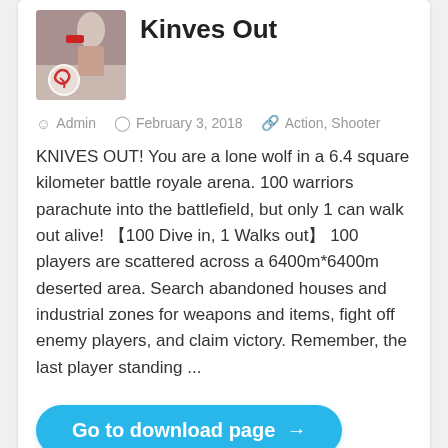[Figure (screenshot): Game thumbnail image for Knives Out with a logo badge overlay]
Kinves Out
Admin   February 3, 2018   Action, Shooter
KNIVES OUT! You are a lone wolf in a 6.4 square kilometer battle royale arena. 100 warriors parachute into the battlefield, but only 1 can walk out alive! 【100 Dive in, 1 Walks out】 100 players are scattered across a 6400m*6400m deserted area. Search abandoned houses and industrial zones for weapons and items, fight off enemy players, and claim victory. Remember, the last player standing ...
Go to download page →
We are making Android Gaming better! Join us!